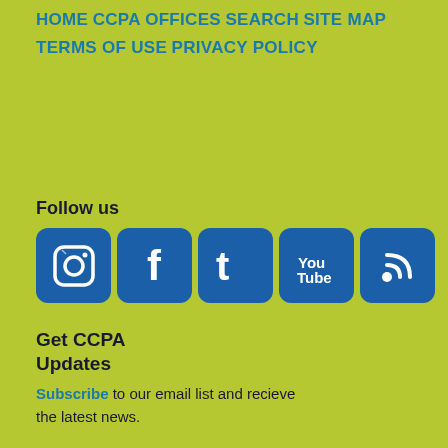HOME
CCPA OFFICES
SEARCH
SITE MAP
TERMS OF USE
PRIVACY POLICY
Follow us
[Figure (infographic): Row of 5 social media icons: Instagram, Facebook, Twitter, YouTube, RSS feed — each in a blue rounded square]
Get CCPA Updates
Subscribe to our email list and recieve the latest news.